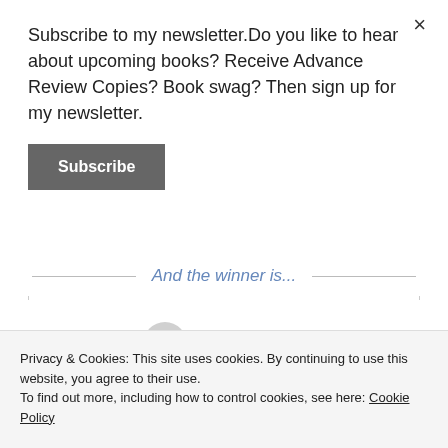Subscribe to my newsletter.Do you like to hear about upcoming books? Receive Advance Review Copies? Book swag? Then sign up for my newsletter.
Subscribe
And the winner is...
Dawn O.
Privacy & Cookies: This site uses cookies. By continuing to use this website, you agree to their use.
To find out more, including how to control cookies, see here: Cookie Policy
Close and accept
powered by Rafflecopter